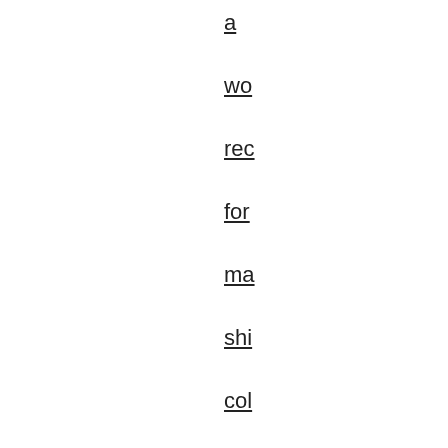a wo rec for ma shi col Th is no a co yo wa to bu tha